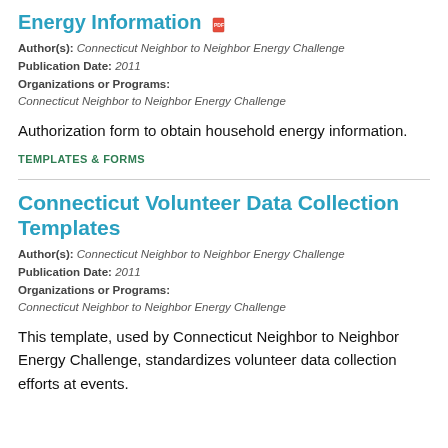Energy Information
Author(s): Connecticut Neighbor to Neighbor Energy Challenge
Publication Date: 2011
Organizations or Programs:
Connecticut Neighbor to Neighbor Energy Challenge
Authorization form to obtain household energy information.
TEMPLATES & FORMS
Connecticut Volunteer Data Collection Templates
Author(s): Connecticut Neighbor to Neighbor Energy Challenge
Publication Date: 2011
Organizations or Programs:
Connecticut Neighbor to Neighbor Energy Challenge
This template, used by Connecticut Neighbor to Neighbor Energy Challenge, standardizes volunteer data collection efforts at events.